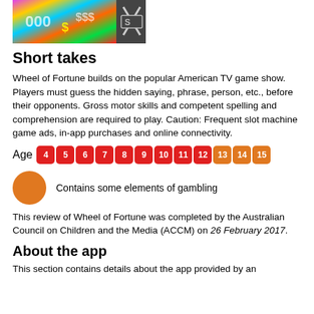[Figure (photo): Colorful Wheel of Fortune game image on the left and a stylized X/scissors logo on dark background on the right]
Short takes
Wheel of Fortune builds on the popular American TV game show. Players must guess the hidden saying, phrase, person, etc., before their opponents. Gross motor skills and competent spelling and comprehension are required to play. Caution: Frequent slot machine game ads, in-app purchases and online connectivity.
Age 4 5 6 7 8 9 10 11 12 13 14 15
Contains some elements of gambling
This review of Wheel of Fortune was completed by the Australian Council on Children and the Media (ACCM) on 26 February 2017.
About the app
This section contains details about the app provided by an